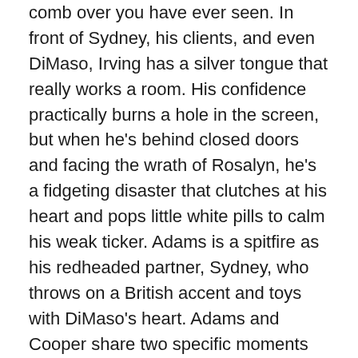comb over you have ever seen. In front of Sydney, his clients, and even DiMaso, Irving has a silver tongue that really works a room. His confidence practically burns a hole in the screen, but when he's behind closed doors and facing the wrath of Rosalyn, he's a fidgeting disaster that clutches at his heart and pops little white pills to calm his weak ticker. Adams is a spitfire as his redheaded partner, Sydney, who throws on a British accent and toys with DiMaso's heart. Adams and Cooper share two specific moments that could practically set the screen ablaze. Cooper nails his role as the slimy DiMaso, the hotshot FBI agent who wears his perm like a crown. Lawrence is as sexy as ever as Irving's restless wife Rosalyn, a bored and neglected housewife who threatens the whole operation. Then there is Renner as Polito, the optimistic Mayor who is determined to bring back Atlantic City any way he can.